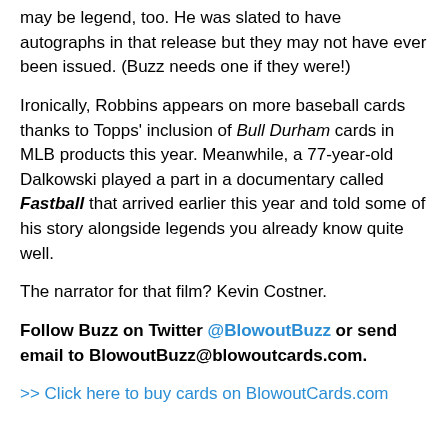may be legend, too. He was slated to have autographs in that release but they may not have ever been issued. (Buzz needs one if they were!)
Ironically, Robbins appears on more baseball cards thanks to Topps' inclusion of Bull Durham cards in MLB products this year. Meanwhile, a 77-year-old Dalkowski played a part in a documentary called Fastball that arrived earlier this year and told some of his story alongside legends you already know quite well.
The narrator for that film? Kevin Costner.
Follow Buzz on Twitter @BlowoutBuzz or send email to BlowoutBuzz@blowoutcards.com.
>> Click here to buy cards on BlowoutCards.com